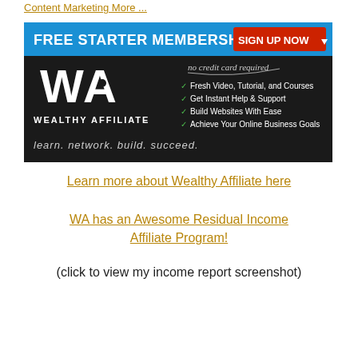Content Marketing More ...
[Figure (screenshot): Wealthy Affiliate banner ad with black background. Shows 'FREE STARTER MEMBERSHIP' in white text on blue bar, 'SIGN UP NOW' in red button, WA logo on left, checkmarked benefits on right (Fresh Video, Tutorial, and Courses; Get Instant Help & Support; Build Websites With Ease; Achieve Your Online Business Goals), 'no credit card required' text, and 'learn. network. build. succeed.' tagline at bottom.]
Learn more about Wealthy Affiliate here
WA has an Awesome Residual Income Affiliate Program!
(click to view my income report screenshot)